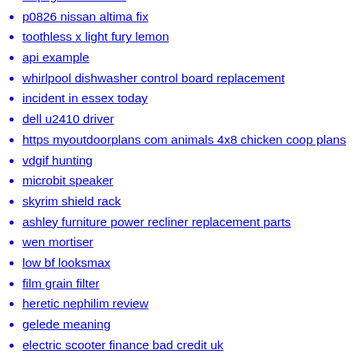arqc generator tool
p0826 nissan altima fix
toothless x light fury lemon
api example
whirlpool dishwasher control board replacement
incident in essex today
dell u2410 driver
https myoutdoorplans com animals 4x8 chicken coop plans
vdgif hunting
microbit speaker
skyrim shield rack
ashley furniture power recliner replacement parts
wen mortiser
low bf looksmax
film grain filter
heretic nephilim review
gelede meaning
electric scooter finance bad credit uk
beretta 92 rear sight removal
12x32 lofted barn cabin plans
craigslist sioux city iowa pets
what is pathology residency like
injector over fueling
glock 43x mos level 2 holster
stacked countplot seaborn